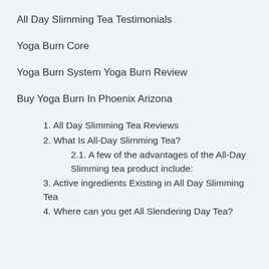All Day Slimming Tea Testimonials
Yoga Burn Core
Yoga Burn System Yoga Burn Review
Buy Yoga Burn In Phoenix Arizona
1. All Day Slimming Tea Reviews
2. What Is All-Day Slimming Tea?
2.1. A few of the advantages of the All-Day Slimming tea product include:
3. Active ingredients Existing in All Day Slimming Tea
4. Where can you get All Slendering Day Tea?